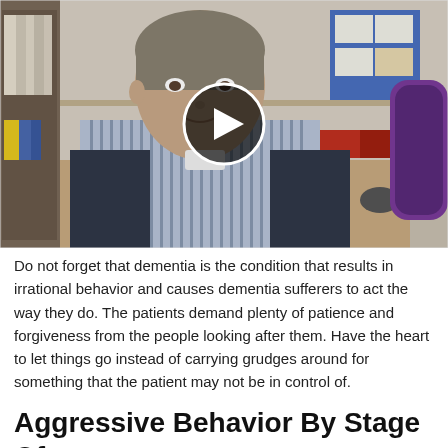[Figure (photo): Video thumbnail showing a woman in nurse or healthcare worker uniform seated at a desk in an office, with a play button overlay in the center. Bookshelves and a bulletin board visible in the background.]
Do not forget that dementia is the condition that results in irrational behavior and causes dementia sufferers to act the way they do. The patients demand plenty of patience and forgiveness from the people looking after them. Have the heart to let things go instead of carrying grudges around for something that the patient may not be in control of.
Aggressive Behavior By Stage Of